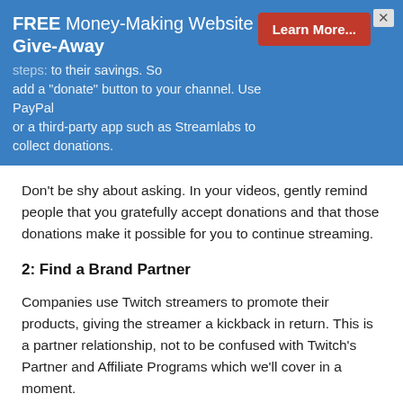[Figure (infographic): Blue promotional banner with text 'FREE Money-Making Website Give-Away' on the left, a red 'Learn More...' button on the right, an X close button in top-right corner, and partially obscured body text about adding a donate button to a channel using PayPal or Streamlabs to collect donations.]
Don't be shy about asking. In your videos, gently remind people that you gratefully accept donations and that those donations make it possible for you to continue streaming.
2: Find a Brand Partner
Companies use Twitch streamers to promote their products, giving the streamer a kickback in return. This is a partner relationship, not to be confused with Twitch's Partner and Affiliate Programs which we'll cover in a moment.
For example, if you're a gamer, potential partners will be selling items such as hardware, software, headsets, chairs and even energy drinks. If you're not yet a big time gamer or streamer, you will likely need to find these partners yourself rather than wait for them to find you. Watch to see who sponsors other